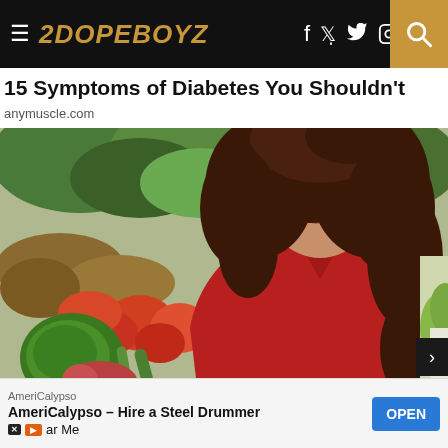2DOPEBOYZ
15 Symptoms of Diabetes You Shouldn't Ignore
anymuscle.com
[Figure (photo): Woman with curly hair wearing a red top, holding a green avocado while shopping at a produce market with vegetables and fruits in the background]
AmeriCalypso
AmeriCalypso – Hire a Steel Drummer Near Me